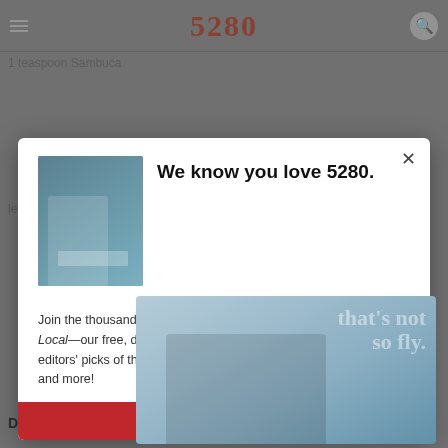5280
1 teaspoon Sambuca
lemon peel
We know you love 5280.
ADVERTISEMENT
Join the thousands of Coloradans who start each day with The Local—our free, daily newsletter. Every day you'll receive our editors' picks of the top stories in mile-high food, culture, travel, and more!
SIGN ME UP!
Directions: